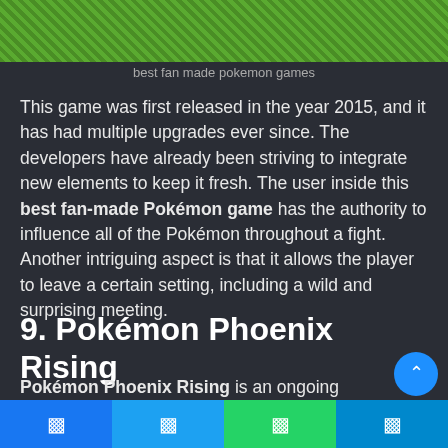[Figure (photo): Green grass/turf background image strip at the top of the page]
best fan made pokemon games
This game was first released in the year 2015, and it has had multiple upgrades ever since. The developers have already been striving to integrate new elements to keep it fresh. The user inside this best fan-made Pokémon game has the authority to influence all of the Pokémon throughout a fight. Another intriguing aspect is that it allows the player to leave a certain setting, including a wild and surprising meeting.
9. Pokémon Phoenix Rising
Pokémon Phoenix Rising is an ongoing Pokémon simulation in which the setting and plot are influenced